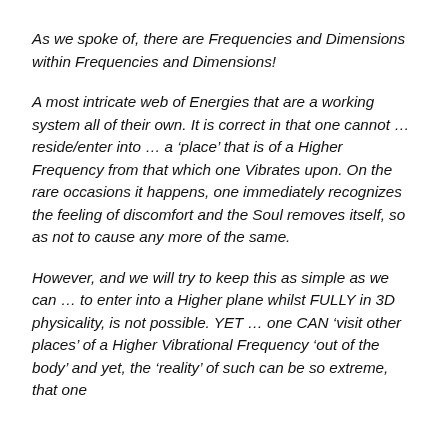As we spoke of, there are Frequencies and Dimensions within Frequencies and Dimensions!
A most intricate web of Energies that are a working system all of their own. It is correct in that one cannot … reside/enter into … a 'place' that is of a Higher Frequency from that which one Vibrates upon. On the rare occasions it happens, one immediately recognizes the feeling of discomfort and the Soul removes itself, so as not to cause any more of the same.
However, and we will try to keep this as simple as we can … to enter into a Higher plane whilst FULLY in 3D physicality, is not possible. YET … one CAN 'visit other places' of a Higher Vibrational Frequency 'out of the body' and yet, the 'reality' of such can be so extreme, that one